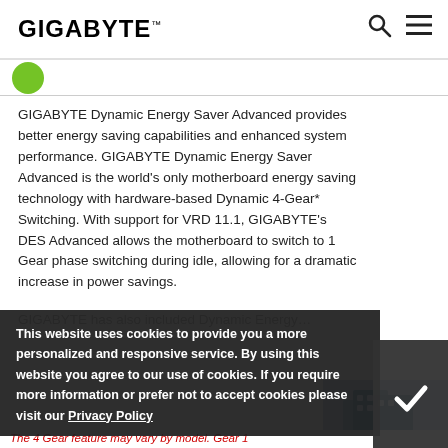GIGABYTE
GIGABYTE Dynamic Energy Saver Advanced provides better energy saving capabilities and enhanced system performance. GIGABYTE Dynamic Energy Saver Advanced is the world's only motherboard energy saving technology with hardware-based Dynamic 4-Gear* Switching. With support for VRD 11.1, GIGABYTE's DES Advanced allows the motherboard to switch to 1 Gear phase switching during idle, allowing for a dramatic increase in power savings.
[Figure (illustration): 3D Industry banner with isometric building illustration and '3D INDUSTRY >' label]
This website uses cookies to provide you a more personalized and responsive service. By using this website you agree to our use of cookies. If you require more information or prefer not to accept cookies please visit our Privacy Policy
The 4 Gear feature may vary by model. Gear 1